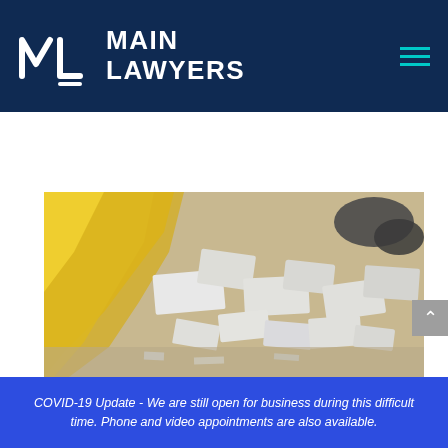MAIN LAWYERS
[Figure (photo): Close-up photo of construction debris including white foam/plasterboard pieces and yellow plastic sheeting, suggesting demolition or asbestos-related waste materials]
COVID-19 Update - We are still open for business during this difficult time. Phone and video appointments are also available.